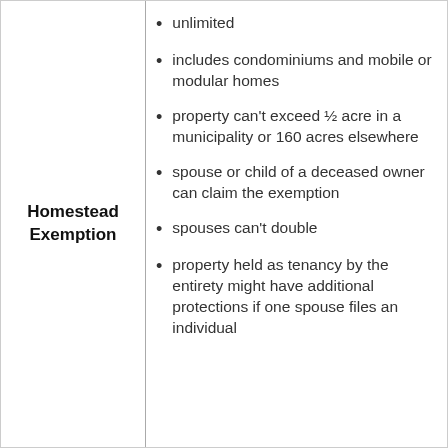Homestead Exemption
unlimited
includes condominiums and mobile or modular homes
property can't exceed ½ acre in a municipality or 160 acres elsewhere
spouse or child of a deceased owner can claim the exemption
spouses can't double
property held as tenancy by the entirety might have additional protections if one spouse files an individual